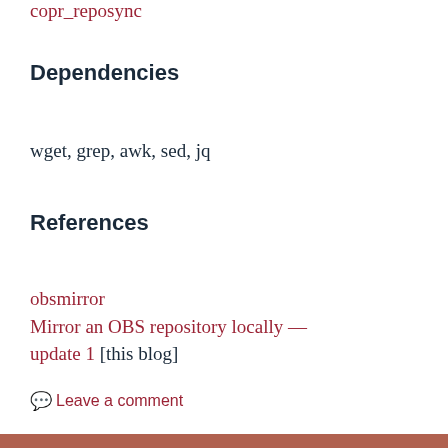copr_reposync
Dependencies
wget, grep, awk, sed, jq
References
obsmirror
Mirror an OBS repository locally — update 1 [this blog]
Leave a comment